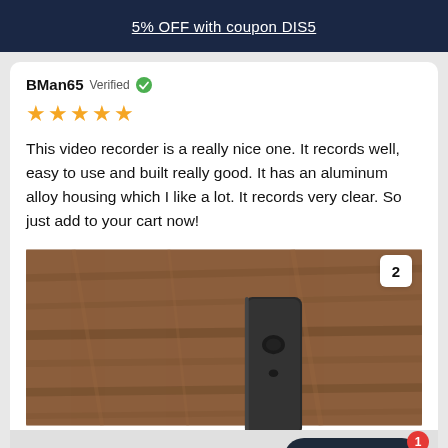5% OFF with coupon DIS5
BMan65 Verified ✓
[Figure (other): Five gold star rating]
This video recorder is a really nice one. It records well, easy to use and built really good. It has an aluminum alloy housing which I like a lot. It records very clear. So just add to your cart now!
[Figure (photo): Close-up photo of a black video recorder device resting on a wooden surface, with image counter badge showing '2' in top right corner]
ADD TO CART
Chat with us